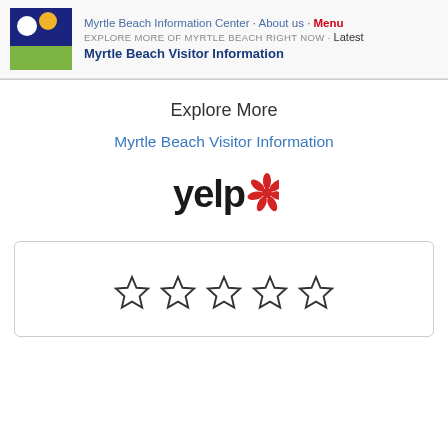Myrtle Beach Information Center · About us · Menu
EXPLORE MORE OF MYRTLE BEACH RIGHT NOW · Latest
Myrtle Beach Visitor Information
Explore More
Myrtle Beach Visitor Information
[Figure (logo): Yelp logo with red burst/flower icon]
[Figure (other): Card with five empty star rating icons]